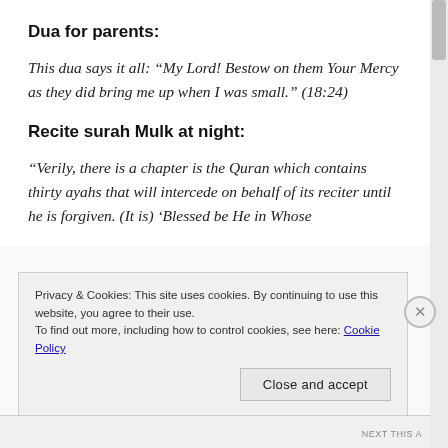Dua for parents:
This dua says it all: “My Lord! Bestow on them Your Mercy as they did bring me up when I was small.” (18:24)
Recite surah Mulk at night:
“Verily, there is a chapter is the Quran which contains thirty ayahs that will intercede on behalf of its reciter until he is forgiven. (It is) ‘Blessed be He in Whose
Privacy & Cookies: This site uses cookies. By continuing to use this website, you agree to their use.
To find out more, including how to control cookies, see here: Cookie Policy
Close and accept
NEXT THIS A